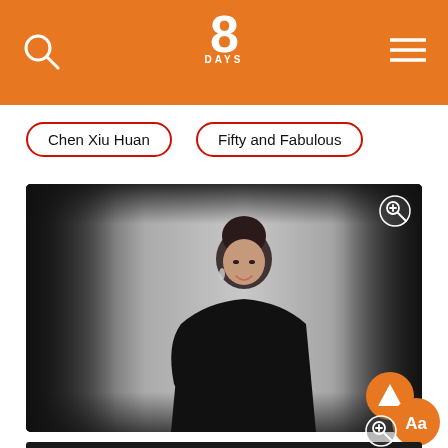8 DAYS
Chen Xiu Huan
Fifty and Fabulous
[Figure (photo): Woman in black outfit posing in front of a white/grey background, smiling at camera]
[Figure (photo): Partial view of second photo showing top of person's head, dark background]